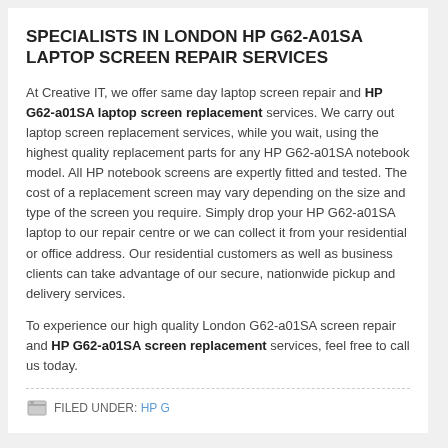SPECIALISTS IN LONDON HP G62-A01SA LAPTOP SCREEN REPAIR SERVICES
At Creative IT, we offer same day laptop screen repair and HP G62-a01SA laptop screen replacement services. We carry out laptop screen replacement services, while you wait, using the highest quality replacement parts for any HP G62-a01SA notebook model. All HP notebook screens are expertly fitted and tested. The cost of a replacement screen may vary depending on the size and type of the screen you require. Simply drop your HP G62-a01SA laptop to our repair centre or we can collect it from your residential or office address. Our residential customers as well as business clients can take advantage of our secure, nationwide pickup and delivery services.
To experience our high quality London G62-a01SA screen repair and HP G62-a01SA screen replacement services, feel free to call us today.
FILED UNDER: HP G